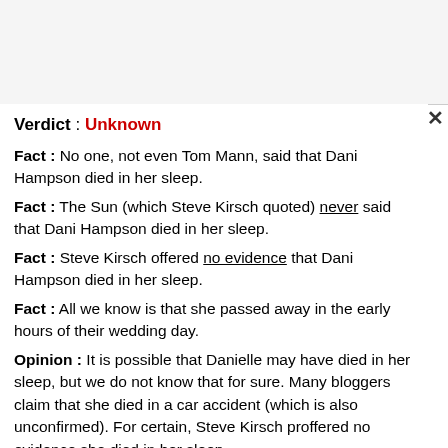Verdict : Unknown
Fact : No one, not even Tom Mann, said that Dani Hampson died in her sleep.
Fact : The Sun (which Steve Kirsch quoted) never said that Dani Hampson died in her sleep.
Fact : Steve Kirsch offered no evidence that Dani Hampson died in her sleep.
Fact : All we know is that she passed away in the early hours of their wedding day.
Opinion : It is possible that Danielle may have died in her sleep, but we do not know that for sure. Many bloggers claim that she died in a car accident (which is also unconfirmed). For certain, Steve Kirsch proffered no evidence she died in her sleep.